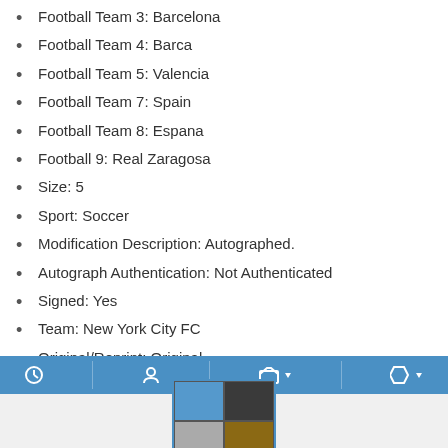Football Team 3: Barcelona
Football Team 4: Barca
Football Team 5: Valencia
Football Team 7: Spain
Football Team 8: Espana
Football 9: Real Zaragosa
Size: 5
Sport: Soccer
Modification Description: Autographed.
Autograph Authentication: Not Authenticated
Signed: Yes
Team: New York City FC
Original/Reprint: Original
[Figure (screenshot): More info on eBay button with gray background and black border]
[Figure (screenshot): Blue toolbar with icons for history, user, folder, and tag]
[Figure (photo): Thumbnail photo showing soccer ball and person, with blue border]